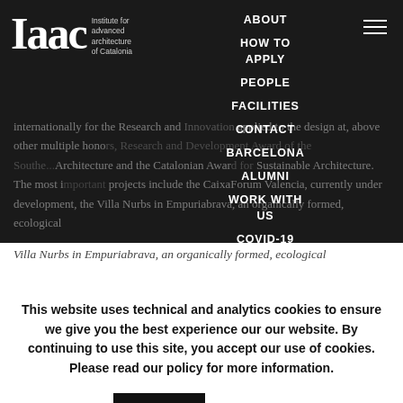[Figure (screenshot): IAAC website navigation overlay showing logo and dropdown menu on dark background]
ABOUT
HOW TO APPLY
PEOPLE
FACILITIES
CONTACT
BARCELONA
ALUMNI
WORK WITH US
COVID-19
internationally for the Research and Innovation applied to the design at, above other multiple honors, Research and Development Award of the South..., Architecture and the Catalonian Award for Sustainable Architecture. The most important projects include the CaixaForum Valencia, currently under development, the Villa Nurbs in Empuriabrava, an organically formed, ecological
This website uses technical and analytics cookies to ensure we give you the best experience our our website. By continuing to use this site, you accept our use of cookies. Please read our policy for more information.
Accept
Read More